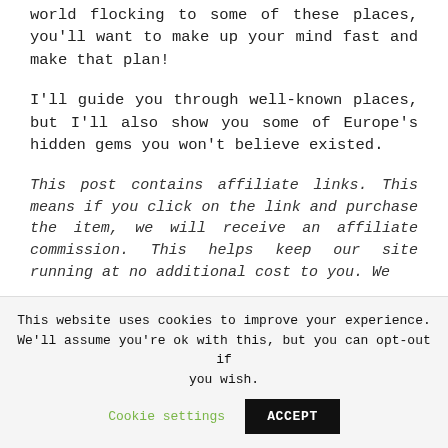world flocking to some of these places, you'll want to make up your mind fast and make that plan!
I'll guide you through well-known places, but I'll also show you some of Europe's hidden gems you won't believe existed.
This post contains affiliate links. This means if you click on the link and purchase the item, we will receive an affiliate commission. This helps keep our site running at no additional cost to you. We
This website uses cookies to improve your experience. We'll assume you're ok with this, but you can opt-out if you wish. Cookie settings ACCEPT